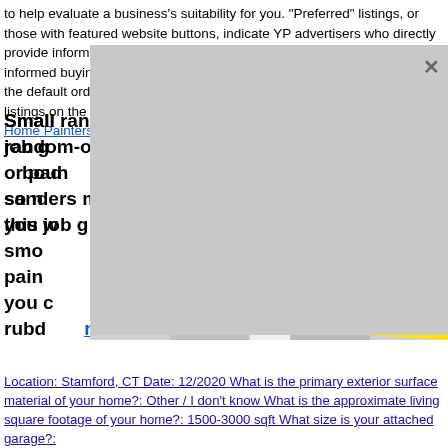to help evaluate a business's suitability for you. "Preferred" listings, or those with featured website buttons, indicate YP advertisers who directly provide information about their businesses to help consumers make more informed buying decisions. YP advertisers receive higher placement in the default ordering of search results and may appear in sponsored listings on the top, side, or bottom of the search results page. Home Painters
Small random-orbit or pad sanders make this job go...bound...so no...own, you w...red, smo...d paint...y, you c...rubd...inting
[Figure (photo): Black and white photo of a man in a suit with a polka-dot tie, overlaid with a yellow triangle and a BeC logo in red/gold. This is an advertisement overlay partially covering the page content.]
Location: Stamford, CT Date: 12/2020 What is the primary exterior surface material of your home?: Other / I don't know What is the approximate living square footage of your home?: 1500-3000 sqft What size is your attached garage?: